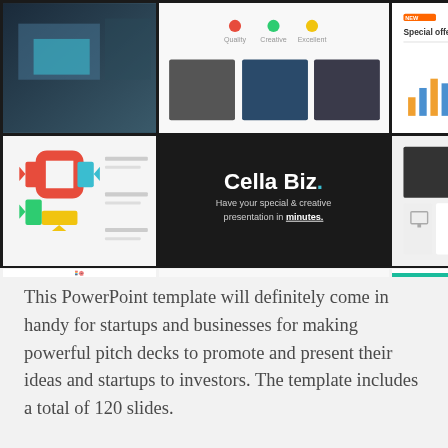[Figure (screenshot): A 3x3 grid of PowerPoint presentation slide thumbnails for 'Cella Biz' template. Top row: dark architectural photo slide, three-column slide with red/teal/yellow icons and photos, special offers bar chart slide. Middle row: colorful cycle/infographic diagram slide, dark center slide with 'Cella Biz. Have your special & creative presentation in minutes.', photo collage slide. Bottom row: piggy bank with arrows infographic slide, pyramid infographic elements slide, laptop/tech slide with teal accent.]
This PowerPoint template will definitely come in handy for startups and businesses for making powerful pitch decks to promote and present their ideas and startups to investors. The template includes a total of 120 slides.